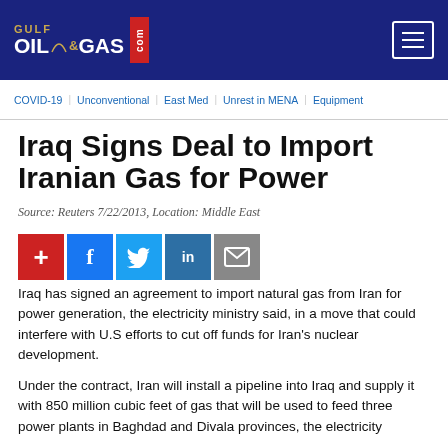Gulf Oil & Gas .com
COVID-19 | Unconventional | East Med | Unrest in MENA | Equipment
Iraq Signs Deal to Import Iranian Gas for Power
Source: Reuters 7/22/2013, Location: Middle East
[Figure (other): Social sharing buttons: Add (+), Facebook, Twitter, LinkedIn, Email]
Iraq has signed an agreement to import natural gas from Iran for power generation, the electricity ministry said, in a move that could interfere with U.S efforts to cut off funds for Iran's nuclear development.
Under the contract, Iran will install a pipeline into Iraq and supply it with 850 million cubic feet of gas that will be used to feed three power plants in Baghdad and Divala provinces, the electricity